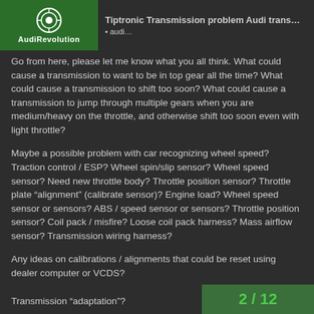Tiptronic Transmission problem Audi trans...
Go from here, please let me know what you all think. What could cause a transmission to want to be in top gear all the time? What could cause a transmission to shift too soon? What could cause a transmission to jump through multiple gears when you are medium/heavy on the throttle, and otherwise shift too soon even with light throttle?
Maybe a possible problem with car recognizing wheel speed? Traction control / ESP? Wheel spin/slip sensor? Wheel speed sensor? Need new throttle body? Throttle position sensor? Throttle plate “alignment” (calibrate sensor)? Engine load? Wheel speed sensor or sensors? ABS / speed sensor or sensors? Throttle position sensor? Coil pack / misfire? Loose coil pack harness? Mass airflow sensor? Transmission wiring harness?
Any ideas on calibrations / alignments that could be reset using dealer computer or VCDS?
Transmission “adaptation”?
2 / 12